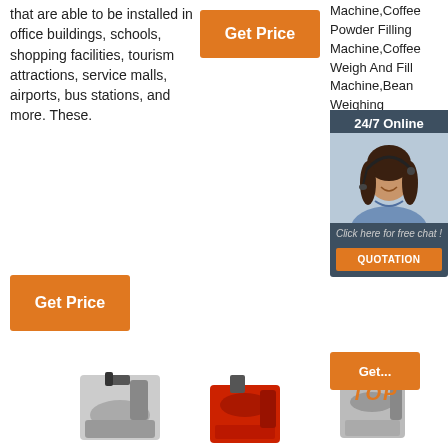that are able to be installed in office buildings, schools, shopping facilities, tourism attractions, service malls, airports, bus stations, and more. These.
[Figure (other): Orange 'Get Price' button (top)]
[Figure (other): Orange 'Get Price' button (bottom left)]
Machine,Coffee Powder Filling Machine,Coffee Weigh And Fill Machine,Bean Weighing Machine,Filling Supplier Manufacturer Dongg Packing Co., Lt...
[Figure (photo): 24/7 Online chat widget overlay with photo of woman with headset, 'Click here for free chat!' text, and QUOTATION button]
[Figure (other): Orange 'Get Price' button (bottom right, partially obscured by chat widget)]
[Figure (photo): Row of three coffee roaster machines at bottom of page, with TOP badge overlay on the right machine]